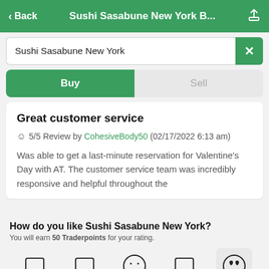< Back  Sushi Sasabune New York B...
Sushi Sasabune New York
Buy  Sell
Great customer service
☺ 5/5 Review by CohesiveBody50 (02/17/2022 6:13 am)
Was able to get a last-minute reservation for Valentine's Day with AT. The customer service team was incredibly responsive and helpful throughout the
How do you like Sushi Sasabune New York?
You will earn 50 Traderpoints for your rating.